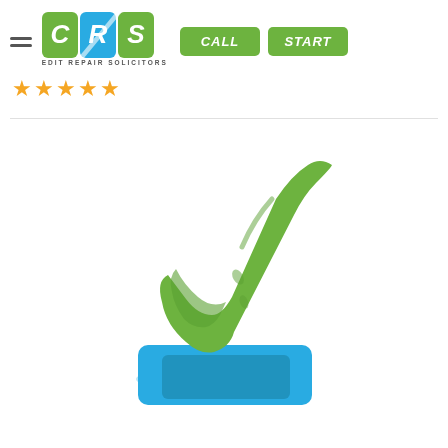[Figure (logo): CRS Credit Repair Solicitors logo with green and blue shield icon showing letters C, R, S]
★★★★★
[Figure (illustration): Green checkmark tick icon standing on a blue square base platform, 3D-style illustration]